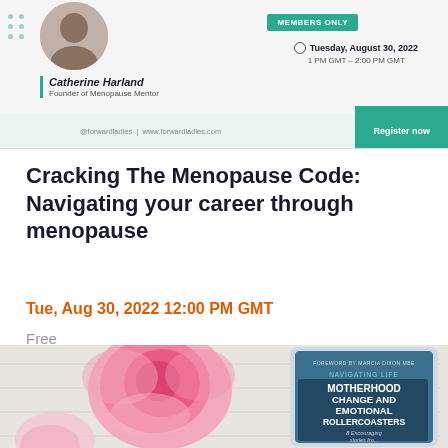[Figure (screenshot): Event banner for Forward Ladies webinar featuring Catherine Harland, Founder of Menopause Mentor. Shows Members Only badge, date Tuesday August 30 2022 1PM GMT - 2:00PM GMT, and a Register now button.]
Cracking The Menopause Code: Navigating your career through menopause
Tue, Aug 30, 2022 12:00 PM GMT
Free
[Figure (photo): Photo of pink peonies on white wooden surface next to a tablet displaying book cover: Navigating Life Motherhood Change and Emotional Rollercoasters, Foreword by Marcia Dixon MBE]